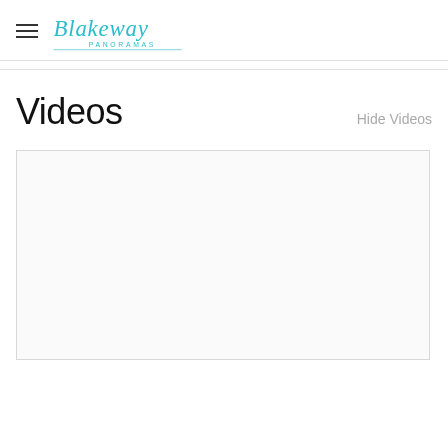Blakeway Panoramas
Videos
Hide Videos
[Figure (other): Empty video player placeholder rectangle with light border]